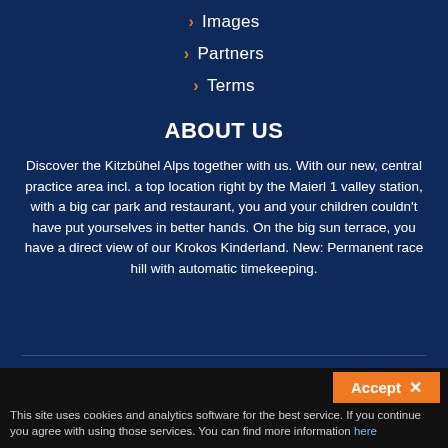Images
Partners
Terms
ABOUT US
Discover the Kitzbühel Alps together with us. With our new, central practice area incl. a top location right by the Maierl 1 valley station, with a big car park and restaurant, you and your children couldn't have put yourselves in better hands. On the big sun terrace, you have a direct view of our Krokos Kinderland. New: Permanent race hill with automatic timekeeping.
© 2013 Copyright Schischule Alpin-Profis
Contact|Imprint
Accept ×
This site uses cookies and analytics software for the best service. If you continue you agree with using those services. You can find more information here